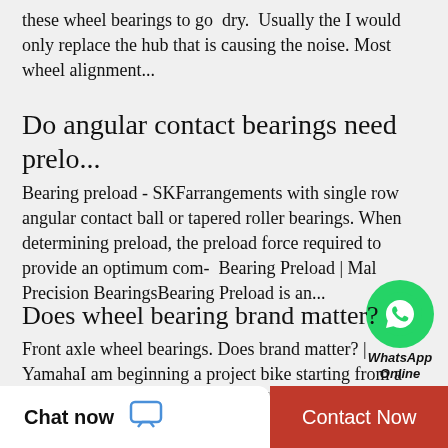these wheel bearings to go dry. Usually the I would only replace the hub that is causing the noise. Most wheel alignment...
Do angular contact bearings need prelo...
Bearing preload - SKFarrangements with single row angular contact ball or tapered roller bearings. When determining preload, the preload force required to provide an optimum com- Bearing Preload | M al Precision BearingsBearing Preload is an...
[Figure (logo): WhatsApp green circle logo with phone icon and text 'WhatsApp Online']
Does wheel bearing brand matter?
Front axle wheel bearings. Does brand matter? | YamahaI am beginning a project bike starting from a handful of parts rather than a whole bike. So I'm piecing parts together without having worked on  What
Chat now
Contact Now